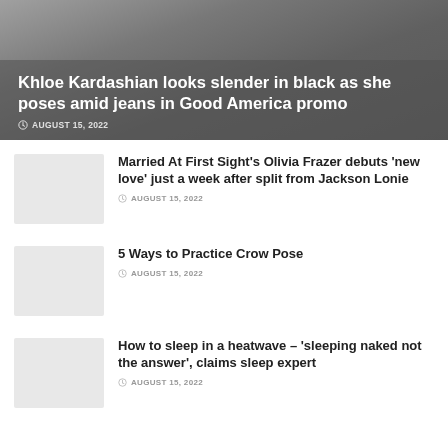[Figure (photo): Hero banner with grey gradient background showing article header]
Khloe Kardashian looks slender in black as she poses amid jeans in Good America promo
AUGUST 15, 2022
[Figure (photo): Thumbnail image placeholder (light grey)]
Married At First Sight's Olivia Frazer debuts 'new love' just a week after split from Jackson Lonie
AUGUST 15, 2022
[Figure (photo): Thumbnail image placeholder (light grey)]
5 Ways to Practice Crow Pose
AUGUST 15, 2022
[Figure (photo): Thumbnail image placeholder (light grey)]
How to sleep in a heatwave – 'sleeping naked not the answer', claims sleep expert
AUGUST 15, 2022